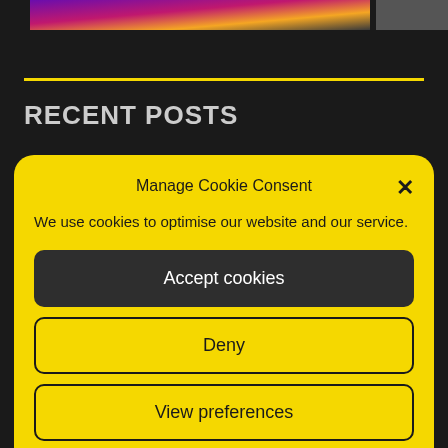[Figure (screenshot): Partial banner image at top of page with purple/pink gradient colors]
RECENT POSTS
Bar Fight 13/05/2021
Manage Cookie Consent
We use cookies to optimise our website and our service.
Accept cookies
Deny
View preferences
Cookie Policy   Privacy Policy